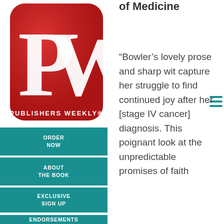[Figure (logo): Publishers Weekly red rounded-square logo with PW letters in white]
ORDER NOW
ABOUT THE BOOK
EXCLUSIVE SIGN UP
ENDORSEMENTS
of Medicine
“Bowler’s lovely prose and sharp wit capture her struggle to find continued joy after her [stage IV cancer] diagnosis. This poignant look at the unpredictable promises of faith